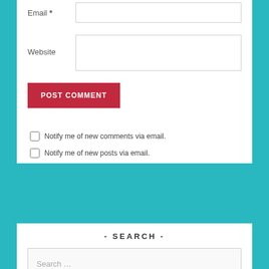Email *
Website
POST COMMENT
Notify me of new comments via email.
Notify me of new posts via email.
- SEARCH -
Search …
- FOLLOW US -